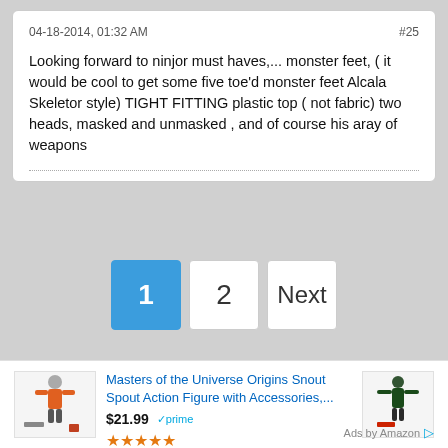04-18-2014, 01:32 AM
#25
Looking forward to ninjor must haves,... monster feet, ( it would be cool to get some five toe'd monster feet Alcala Skeletor style) TIGHT FITTING plastic top ( not fabric) two heads, masked and unmasked , and of course his aray of weapons
[Figure (screenshot): Pagination buttons showing 1 (active, blue), 2, and Next]
[Figure (screenshot): Amazon advertisement showing Masters of the Universe Origins Snout Spout Action Figure with Accessories, priced at $21.99 with Prime badge and 5-star rating]
Ads by Amazon